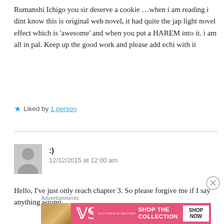Rumanshi Ichigo you sir deserve a cookie ...when i am reading i dint know this is original web novel, it had quite the jap light novel effect which is 'awesome' and when you put a HAREM into it. i am all in pal. Keep up the good work and please add echi with it
Liked by 1 person
:)
12/12/2015 at 12:00 am
Hello, I've just only reach chapter 3. So please forgive me if I say anything wrong.
Advertisements
[Figure (other): Victoria's Secret advertisement banner with pink background, model photo, VS logo, text SHOP THE COLLECTION, and SHOP NOW button]